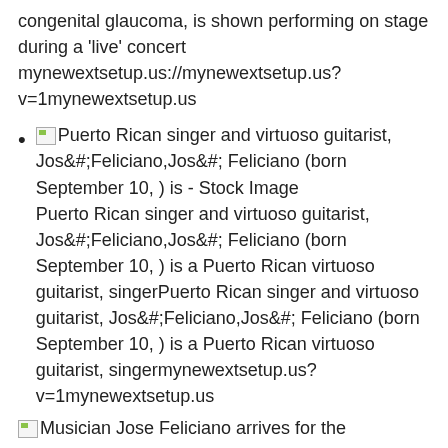congenital glaucoma, is shown performing on stage during a 'live' concert mynewextsetup.us://mynewextsetup.us?v=1mynewextsetup.us
Puerto Rican singer and virtuoso guitarist, Jos&#;Feliciano,Jos&#; Feliciano (born September 10, ) is - Stock Image
Puerto Rican singer and virtuoso guitarist, Jos&#;Feliciano,Jos&#; Feliciano (born September 10, ) is a Puerto Rican virtuoso guitarist, singerPuerto Rican singer and virtuoso guitarist, Jos&#;Feliciano,Jos&#; Feliciano (born September 10, ) is a Puerto Rican virtuoso guitarist, singermynewextsetup.us?v=1mynewextsetup.us
Musician Jose Feliciano arrives for the 'Conversations in Cinema: 90 Miles Documentary' panel discussion as part of Tribeca Film Festival in New York City, USA on May 1, Photo by